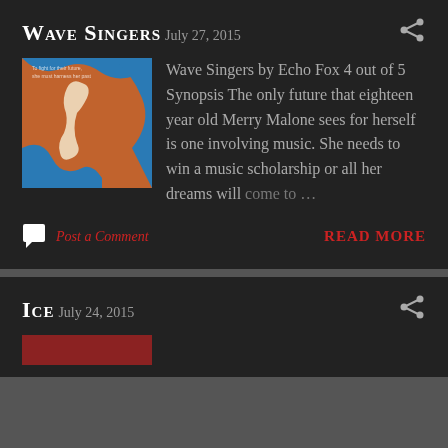Wave Singers
July 27, 2015
[Figure (illustration): Book cover for Wave Singers: orange background with blue wave and white silhouette figure, text 'To fight for their future, she must harness her past']
Wave Singers by Echo Fox 4 out of 5 Synopsis The only future that eighteen year old Merry Malone sees for herself is one involving music. She needs to win a music scholarship or all her dreams will come to …
Post a Comment
READ MORE
Ice
July 24, 2015